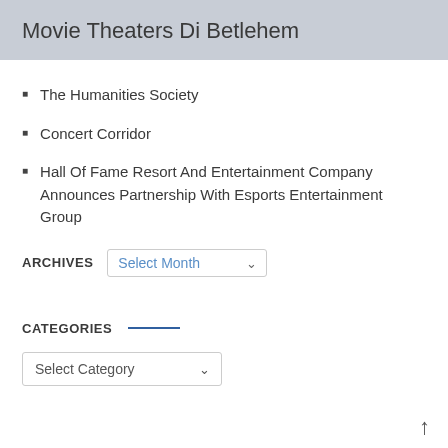Movie Theaters Di Betlehem
The Humanities Society
Concert Corridor
Hall Of Fame Resort And Entertainment Company Announces Partnership With Esports Entertainment Group
ARCHIVES  Select Month
CATEGORIES
Select Category